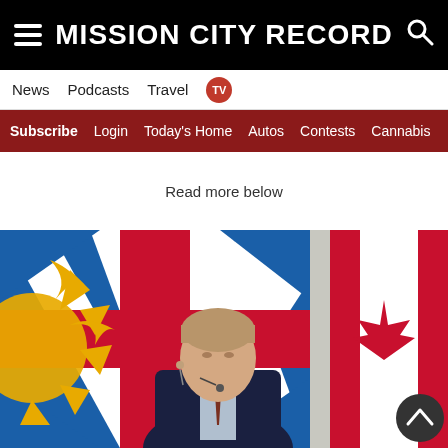MISSION CITY RECORD
News  Podcasts  Travel  TV
Subscribe  Login  Today's Home  Autos  Contests  Cannabis
Read more below
[Figure (photo): A man in a dark suit stands in front of BC provincial flag and Canadian flag during a government press event.]